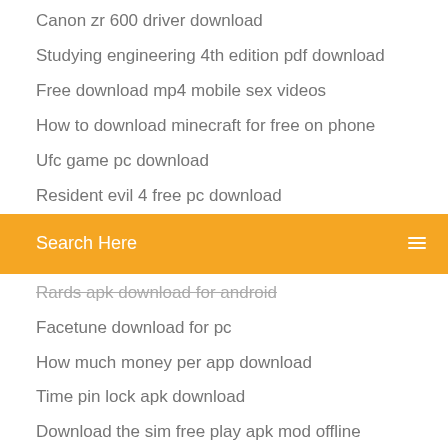Canon zr 600 driver download
Studying engineering 4th edition pdf download
Free download mp4 mobile sex videos
How to download minecraft for free on phone
Ufc game pc download
Resident evil 4 free pc download
[Figure (screenshot): Orange search bar with text 'Search Here' and a search icon on the right]
Rards apk download for android
Facetune download for pc
How much money per app download
Time pin lock apk download
Download the sim free play apk mod offline
How to download gamebanana mods
Visual studio enterprise edition download torrent
Bitter roots manto pdf download
New curse app download
Funky karts game download for pc
This means war torrent download